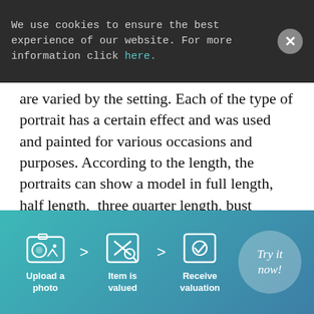We use cookies to ensure the best experience of our website. For more information click here.
are varied by the setting. Each of the type of portrait has a certain effect and was used and painted for various occasions and purposes. According to the length, the portraits can show a model in full length, half length, three quarter length, bust portrait or head and shoulders only.
Check The Latest Portrait Auctions on Barnebys Here!
[Figure (infographic): Valuation process steps: Upload a photo > Item is valued > Receive valuation, with a Try it now! button on the right, on a teal gradient background.]